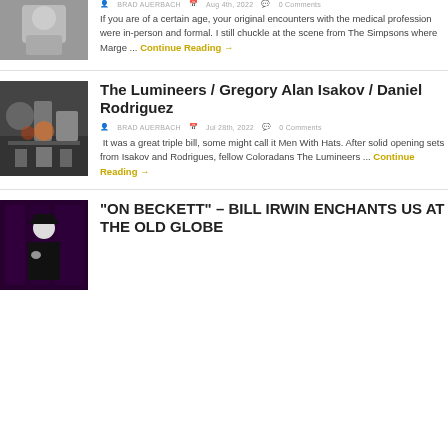[Figure (photo): Partial photo of a person at the top of the page]
BRAD AUERBACH  Aug 4th, 2022  0 Comments
If you are of a certain age, your original encounters with the medical profession were in-person and formal. I still chuckle at the scene from The Simpsons where Marge ... Continue Reading →
The Lumineers / Gregory Alan Isakov / Daniel Rodriguez
[Figure (photo): Concert photo showing musicians on stage including a drummer]
BRAD AUERBACH  Jul 28th, 2022  0 Comments
It was a great triple bill, some might call it Men With Hats. After solid opening sets from Isakov and Rodrigues, fellow Coloradans The Lumineers ... Continue Reading →
"ON BECKETT" – BILL IRWIN ENCHANTS US AT THE OLD GLOBE
[Figure (photo): Photo of Bill Irwin on stage at The Old Globe theater]